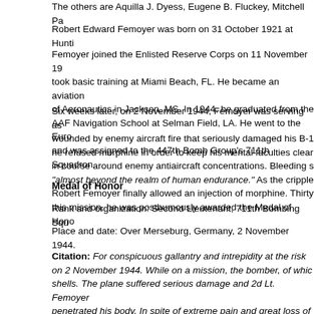The others are Aquilla J. Dyess, Eugene B. Fluckey, Mitchell Pa...
Robert Edward Femoyer was born on 31 October 1921 at Hunti...
Femoyer joined the Enlisted Reserve Corps on 11 November 19... took basic training at Miami Beach, FL. He became an aviation... of Aeronautics in Jackson, MS. In 1944, he graduated from the... AAF Navigation School at Selman Field, LA. He went to the Euro... and was assigned to the 447th Bomb Group's 711th Squadron.
Six weeks later, on 2 November 1944, Femoyer was serving as... wounded by enemy aircraft fire that seriously damaged his B-1... he refused morphine in order to keep his mental faculties clear... in course around enemy antiaircraft concentrations. Bleeding s... "almost beyond the realm of human endurance." As the cripple... Robert Femoyer finally allowed an injection of morphine. Thirty... this mission, he was posthumously awarded the Medal of Hono...
Medal of Honor
Rank and organization: Second Lieutenant, 711th Bombing Squ...
Place and date: Over Merseburg, Germany, 2 November 1944.
Citation: For conspicuous gallantry and intrepidity at the risk... on 2 November 1944. While on a mission, the bomber, of whic... shells. The plane suffered serious damage and 2d Lt. Femoyer... penetrated his body. In spite of extreme pain and great loss of... keep his mental faculties clear in order that he might direct his... from the floor, he asked to be propped up in order to enable hi... navigation of his lone bomber for 2 1/2 hours so well it avoide...